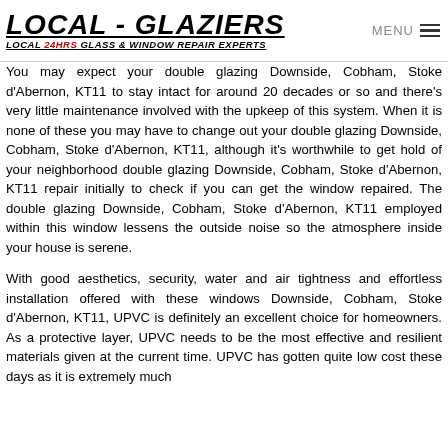LOCAL - GLAZIERS | LOCAL 24HRS GLASS & WINDOW REPAIR EXPERTS | MENU
You may expect your double glazing Downside, Cobham, Stoke d'Abernon, KT11 to stay intact for around 20 decades or so and there's very little maintenance involved with the upkeep of this system. When it is none of these you may have to change out your double glazing Downside, Cobham, Stoke d'Abernon, KT11, although it's worthwhile to get hold of your neighborhood double glazing Downside, Cobham, Stoke d'Abernon, KT11 repair initially to check if you can get the window repaired. The double glazing Downside, Cobham, Stoke d'Abernon, KT11 employed within this window lessens the outside noise so the atmosphere inside your house is serene.
With good aesthetics, security, water and air tightness and effortless installation offered with these windows Downside, Cobham, Stoke d'Abernon, KT11, UPVC is definitely an excellent choice for homeowners. As a protective layer, UPVC needs to be the most effective and resilient materials given at the current time. UPVC has gotten quite low cost these days as it is extremely much